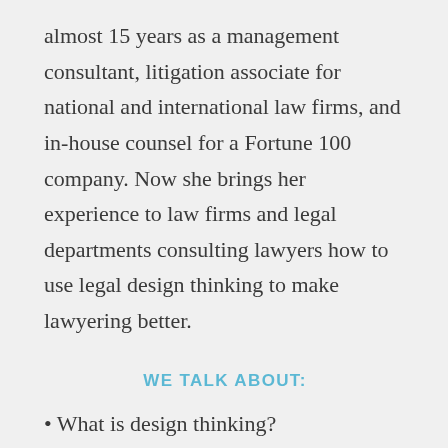almost 15 years as a management consultant, litigation associate for national and international law firms, and in-house counsel for a Fortune 100 company. Now she brings her experience to law firms and legal departments consulting lawyers how to use legal design thinking to make lawyering better.
WE TALK ABOUT:
• What is design thinking?
• Why empathy is important in building client relationships
• Why design thinking is an integral piece in your